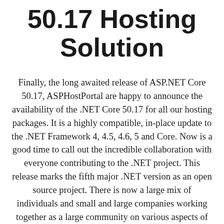50.17 Hosting Solution
Finally, the long awaited release of ASP.NET Core 50.17, ASPHostPortal are happy to announce the availability of the .NET Core 50.17 for all our hosting packages. It is a highly compatible, in-place update to the .NET Framework 4, 4.5, 4.6, 5 and Core. Now is a good time to call out the incredible collaboration with everyone contributing to the .NET project. This release marks the fifth major .NET version as an open source project. There is now a large mix of individuals and small and large companies working together as a large community on various aspects of .NET in the dotnet org on GitHub. The improvements in .NET 50.17 are